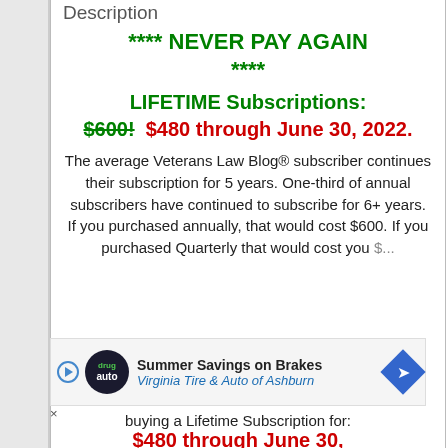Description
**** NEVER PAY AGAIN ****
LIFETIME Subscriptions: $600!  $480 through June 30, 2022.
The average Veterans Law Blog® subscriber continues their subscription for 5 years. One-third of annual subscribers have continued to subscribe for 6+ years.
If you purchased annually, that would cost $600. If you purchased Quarterly that would cost you $...
[Figure (other): Advertisement banner: Summer Savings on Brakes - Virginia Tire & Auto of Ashburn]
buying a Lifetime Subscription for: $480 through June 30,